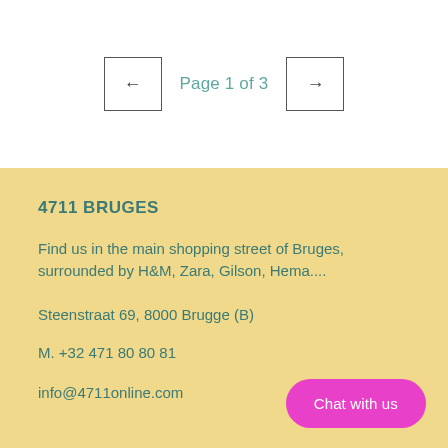← Page 1 of 3 →
4711 BRUGES
Find us in the main shopping street of Bruges, surrounded by H&M, Zara, Gilson, Hema....
Steenstraat 69, 8000 Brugge (B)
M. +32 471 80 80 81
info@4711online.com